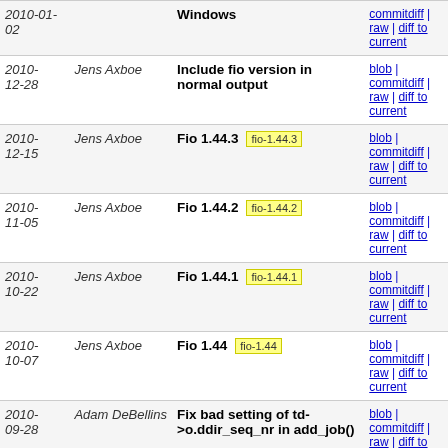| Date | Author | Commit | Links |
| --- | --- | --- | --- |
| 2010-01-02 |  | Windows | commitdiff | raw | diff to current |
| 2010-12-28 | Jens Axboe | Include fio version in normal output | blob | commitdiff | raw | diff to current |
| 2010-12-15 | Jens Axboe | Fio 1.44.3  fio-1.44.3 | blob | commitdiff | raw | diff to current |
| 2010-11-05 | Jens Axboe | Fio 1.44.2  fio-1.44.2 | blob | commitdiff | raw | diff to current |
| 2010-10-22 | Jens Axboe | Fio 1.44.1  fio-1.44.1 | blob | commitdiff | raw | diff to current |
| 2010-10-07 | Jens Axboe | Fio 1.44  fio-1.44 | blob | commitdiff | raw | diff to current |
| 2010-09-28 | Adam DeBellins | Fix bad setting of td->o.ddir_seq_nr in add_job() | blob | commitdiff | raw | diff to current |
| 2010-09-24 | Jens Axboe | Fio 1.44-rc1  fio-1.44-rc1 | blob | commitdiff | raw | diff to current |
| 2010-09-01 | Jens Axboe | Add verify trim support | blob | commitdiff | raw | diff to current |
| 2010-08-27 | Jens Axboe | Fio 1.43.2  fio-1.43.2 | blob | commitdiff | raw | diff to current |
| 2010-08-25 | Jens Axboe | Fio 1.43.1  fio-1.43.1 | blob | commitdiff |